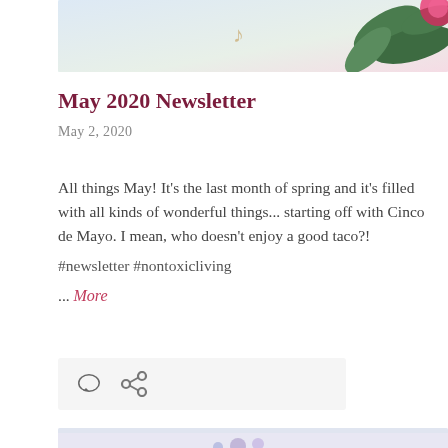[Figure (photo): Top portion of a decorative photo showing flowers and leaves on a light background]
May 2020 Newsletter
May 2, 2020
All things May! It's the last month of spring and it's filled with all kinds of wonderful things... starting off with Cinco de Mayo. I mean, who doesn't enjoy a good taco?!
#newsletter #nontoxicliving
... More
[Figure (other): Action bar with comment bubble icon and link/share icon on a light gray background]
[Figure (photo): Bottom portion of a decorative photo showing colorful flowers on a light background]